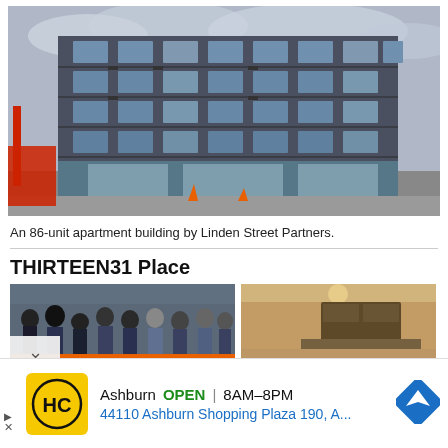[Figure (photo): An 86-unit modern apartment building under construction by Linden Street Partners, multi-story with balconies and glass storefronts, construction equipment visible on street]
An 86-unit apartment building by Linden Street Partners.
THIRTEEN31 Place
[Figure (photo): Two thumbnail photos side by side: left shows a group of people at what appears to be a ribbon-cutting ceremony with orange barriers; right shows a modern interior kitchen/living space]
Ashburn   OPEN  |  8AM–8PM
44110 Ashburn Shopping Plaza 190, A...